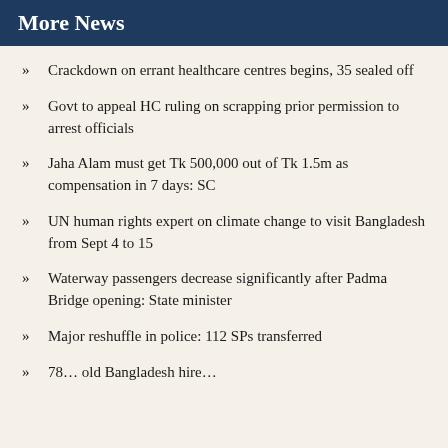More News
Crackdown on errant healthcare centres begins, 35 sealed off
Govt to appeal HC ruling on scrapping prior permission to arrest officials
Jaha Alam must get Tk 500,000 out of Tk 1.5m as compensation in 7 days: SC
UN human rights expert on climate change to visit Bangladesh from Sept 4 to 15
Waterway passengers decrease significantly after Padma Bridge opening: State minister
Major reshuffle in police: 112 SPs transferred
78…old Bangladesh hire…